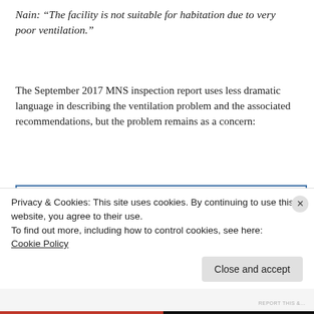Nain: “The facility is not suitable for habitation due to very poor ventilation.”
The September 2017 MNS inspection report uses less dramatic language in describing the ventilation problem and the associated recommendations, but the problem remains as a concern:
| AREA INSPECTED | FINDINGS |
| --- | --- |
| Date of Inspection: - September 26 & 27, 2017
Amount of Facilities: - Four (4)
Location: The facilities are located at four police stations island wide, Moneague, Bridgeport, Barret Town and Nain. |  |
| Grillwork
(Lockup Entrance Door & | 1. Lockup Entrance Grill: Grillwork is made of mild steel bars and is in fairly good condition.
2. Cell Doors: The cell doors are constructed of mild steel bars with a steel plate welded to the bars |
Privacy & Cookies: This site uses cookies. By continuing to use this website, you agree to their use.
To find out more, including how to control cookies, see here: Cookie Policy
Close and accept